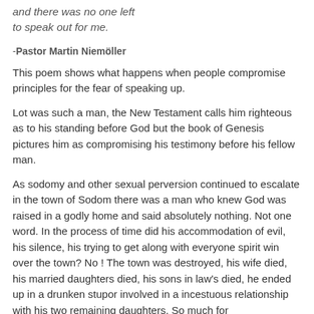and there was no one left to speak out for me.
-Pastor Martin Niemöller
This poem shows what happens when people compromise principles for the fear of speaking up.
Lot was such a man, the New Testament calls him righteous as to his standing before God but the book of Genesis pictures him as compromising his testimony before his fellow man.
As sodomy and other sexual perversion continued to escalate in the town of Sodom there was a man who knew God was raised in a godly home and said absolutely nothing. Not one word. In the process of time did his accommodation of evil, his silence, his trying to get along with everyone spirit win over the town? No ! The town was destroyed, his wife died, his married daughters died, his sons in law's died, he ended up in a drunken stupor involved in a incestuous relationship with his two remaining daughters. So much for